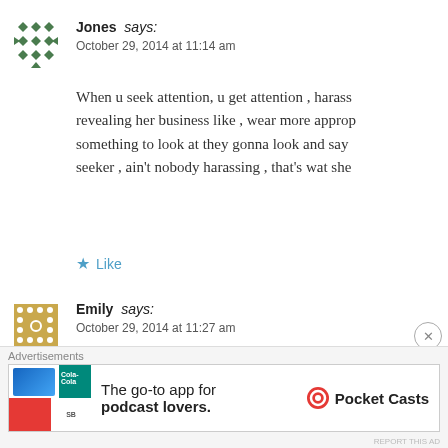Jones says:
October 29, 2014 at 11:14 am
When u seek attention, u get attention , harass... revealing her business like , wear more approp... something to look at they gonna look and say ... seeker , ain't nobody harassing , that's wat she...
Like
Emily says:
October 29, 2014 at 11:27 am
They rape women here too. A lot more often th... with comments like these…
Advertisements
The go-to app for podcast lovers. Pocket Casts